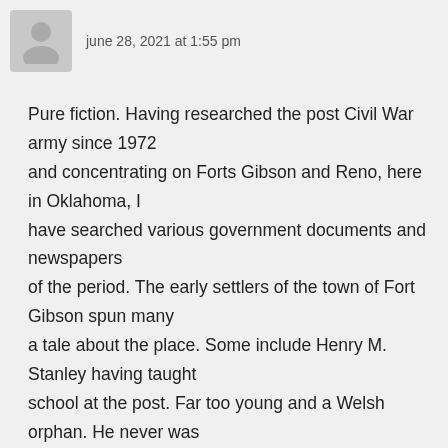[Figure (illustration): Gray placeholder avatar icon of a person silhouette]
june 28, 2021 at 1:55 pm
Pure fiction. Having researched the post Civil War army since 1972 and concentrating on Forts Gibson and Reno, here in Oklahoma, I have searched various government documents and newspapers of the period. The early settlers of the town of Fort Gibson spun many a tale about the place. Some include Henry M. Stanley having taught school at the post. Far too young and a Welsh orphan. He never was in Indian Territory. There were two others named Stanley which the old timers confused with HMS. I could point out